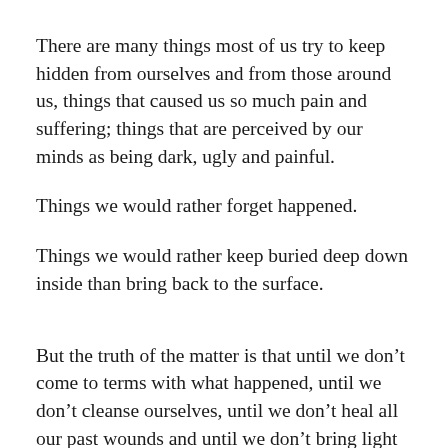There are many things most of us try to keep hidden from ourselves and from those around us, things that caused us so much pain and suffering; things that are perceived by our minds as being dark, ugly and painful.
Things we would rather forget happened.
Things we would rather keep buried deep down inside than bring back to the surface.
But the truth of the matter is that until we don’t come to terms with what happened, until we don’t cleanse ourselves, until we don’t heal all our past wounds and until we don’t bring light into our once dark world, the past will continue to haunt us. And